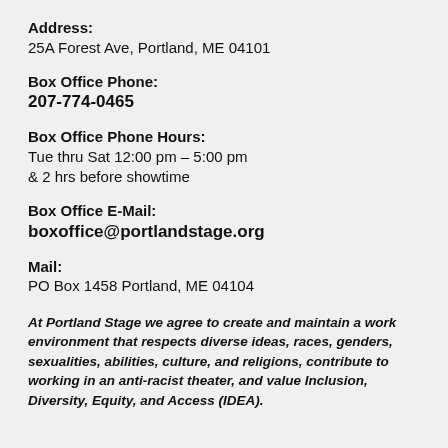Address:
25A Forest Ave, Portland, ME 04101
Box Office Phone:
207-774-0465
Box Office Phone Hours:
Tue thru Sat 12:00 pm – 5:00 pm & 2 hrs before showtime
Box Office E-Mail:
boxoffice@portlandstage.org
Mail:
PO Box 1458 Portland, ME 04104
At Portland Stage we agree to create and maintain a work environment that respects diverse ideas, races, genders, sexualities, abilities, culture, and religions, contribute to working in an anti-racist theater, and value Inclusion, Diversity, Equity, and Access (IDEA).